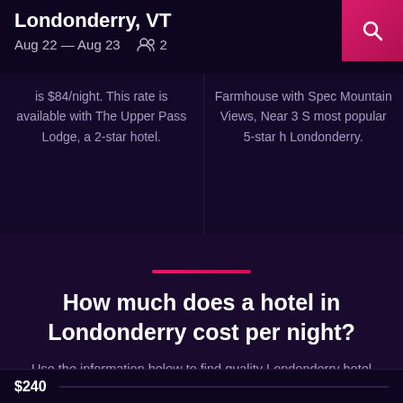Londonderry, VT | Aug 22 — Aug 23 | 2 guests
is $84/night. This rate is available with The Upper Pass Lodge, a 2-star hotel.
Farmhouse with Spectacular Mountain Views, Near 3 Ski... most popular 5-star hotel in Londonderry.
How much does a hotel in Londonderry cost per night?
Use the information below to find quality Londonderry hotel rooms for low prices
$240